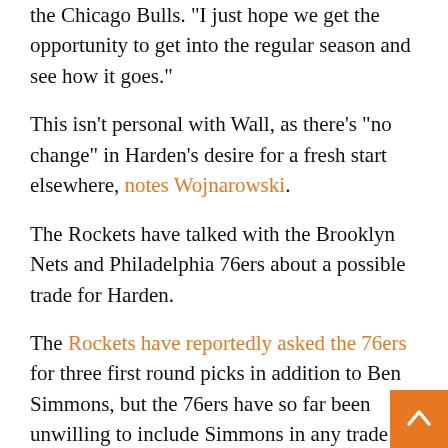the Chicago Bulls. "I just hope we get the opportunity to get into the regular season and see how it goes."
This isn't personal with Wall, as there's "no change" in Harden's desire for a fresh start elsewhere, notes Wojnarowski.
The Rockets have talked with the Brooklyn Nets and Philadelphia 76ers about a possible trade for Harden.
The Rockets have reportedly asked the 76ers for three first round picks in addition to Ben Simmons, but the 76ers have so far been unwilling to include Simmons in any trade proposals.
Harden, 31, is expected to pass his sixth COVID-19 test today which would then clear him to begin